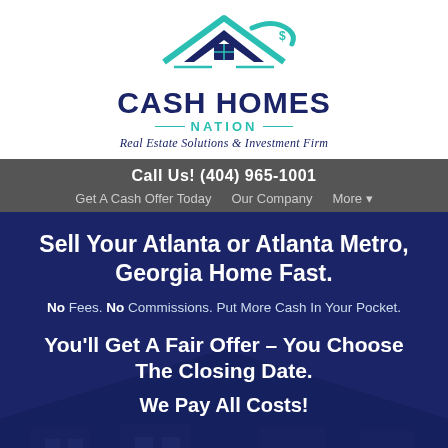[Figure (logo): Cash Homes Nation logo with house roof icon in teal and dark navy blue, and a dollar sign swoosh element]
CASH HOMES NATION
Real Estate Solutions & Investment Firm
Call Us! (404) 965-1001
Get A Cash Offer Today   Our Company   More ▾
Sell Your Atlanta or Atlanta Metro, Georgia Home Fast.
No Fees. No Commissions. Put More Cash In Your Pocket.
You'll Get A Fair Offer – You Choose The Closing Date.
We Pay All Costs!